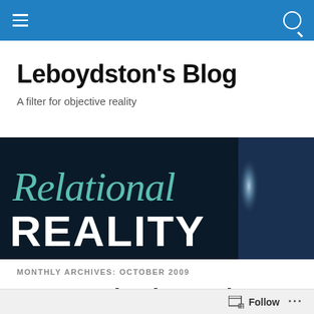Leboydston's Blog
A filter for objective reality
[Figure (photo): Book cover or sign reading 'Relational REALITY' in teal italic and white block letters against a dark background]
MONTHLY ARCHIVES: OCTOBER 2009
Communication and Realization